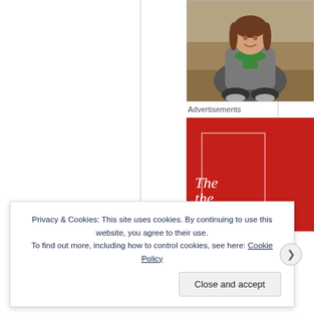[Figure (photo): Photo of a young woman sitting on the floor, smiling, wearing a grey hoodie and green scarf]
Advertisements
[Figure (illustration): Red advertisement banner with white border rectangle and italic white text reading 'The the ev']
Privacy & Cookies: This site uses cookies. By continuing to use this website, you agree to their use.
To find out more, including how to control cookies, see here: Cookie Policy
Close and accept